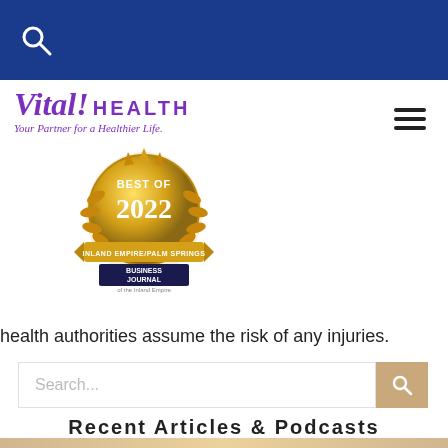Blue navigation header with search icon
[Figure (logo): Vital! Health logo with tagline 'Your Partner for a Healthier Life.' and Best of 2022 Business Journal badge]
health authorities assume the risk of any injuries.
Search...
Recent Articles & Podcasts
[Figure (photo): Bottom strip showing partial image of a person]